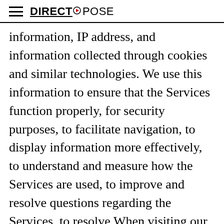DIRECT EXPOSE
information, IP address, and information collected through cookies and similar technologies. We use this information to ensure that the Services function properly, for security purposes, to facilitate navigation, to display information more effectively, to understand and measure how the Services are used, to improve and resolve questions regarding the Services, to resolve When visiting our Site for the first time, you will be prompted to provide consent for our use of cookies questions about them, and to measure the effectiveness of our marketing campaigns.
To learn more about how we use cookies, or to opt out of the collection and use of cookies, please se